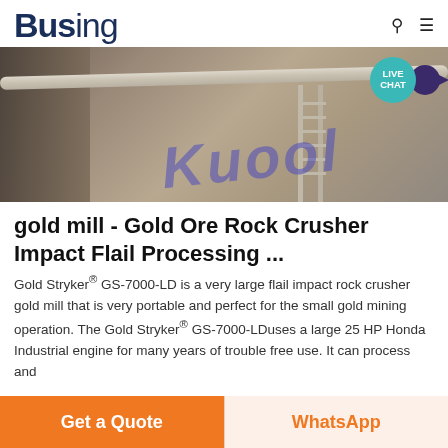Busing
[Figure (photo): Industrial machinery/equipment image with a large pipe or conveyor structure, ladder, and a blue cursive watermark text overlay reading 'Riot' or similar. Live Chat bubble in top right corner.]
gold mill - Gold Ore Rock Crusher Impact Flail Processing ...
Gold Stryker® GS-7000-LD is a very large flail impact rock crusher gold mill that is very portable and perfect for the small gold mining operation. The Gold Stryker® GS-7000-LDuses a large 25 HP Honda Industrial engine for many years of trouble free use. It can process and
Get a Quote
WhatsApp